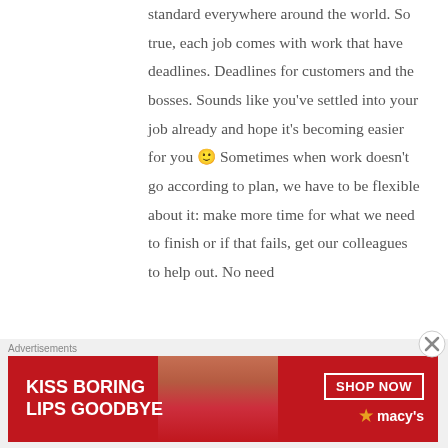standard everywhere around the world. So true, each job comes with work that have deadlines. Deadlines for customers and the bosses. Sounds like you've settled into your job already and hope it's becoming easier for you 🙂 Sometimes when work doesn't go according to plan, we have to be flexible about it: make more time for what we need to finish or if that fails, get our colleagues to help out. No need
[Figure (other): Advertisement banner for Macy's cosmetics: 'KISS BORING LIPS GOODBYE' with a woman's face and red lips, SHOP NOW button and Macy's logo with star]